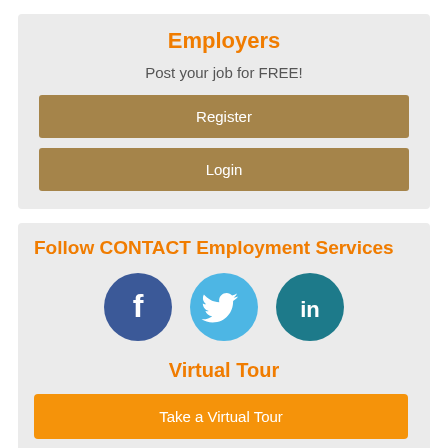Employers
Post your job for FREE!
Register
Login
Follow CONTACT Employment Services
[Figure (illustration): Social media icons: Facebook (dark blue circle with f), Twitter (light blue circle with bird), LinkedIn (teal circle with in)]
Virtual Tour
Take a Virtual Tour